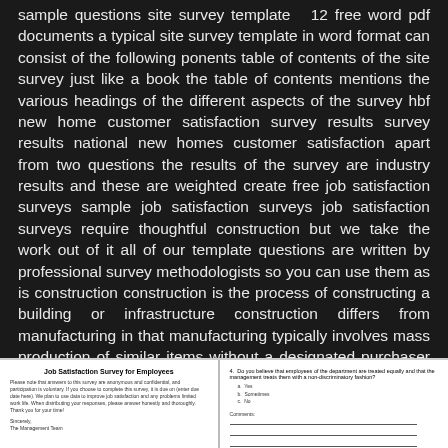sample questions site survey template 12 free word pdf documents a typical site survey template in word format can consist of the following ponents table of contents of the site survey just like a book the table of contents mentions the various headings of the different aspects of the survey hbf new home customer satisfaction survey results survey results national new homes customer satisfaction apart from two questions the results of the survey are industry results and these are weighted create free job satisfaction surveys sample job satisfaction surveys job satisfaction surveys require thoughtful construction but we take the work out of it all of our template questions are written by professional survey methodologists so you can use them as is construction construction is the process of constructing a building or infrastructure construction differs from manufacturing in that manufacturing typically involves mass production of similar items without a designated purchaser while construction typically takes place on location for a known client construction as an industry prises six to nine
[Figure (screenshot): A document excerpt showing a Job Satisfaction Survey for Employees form with introductory text and a question asking about equal treatment by management.]